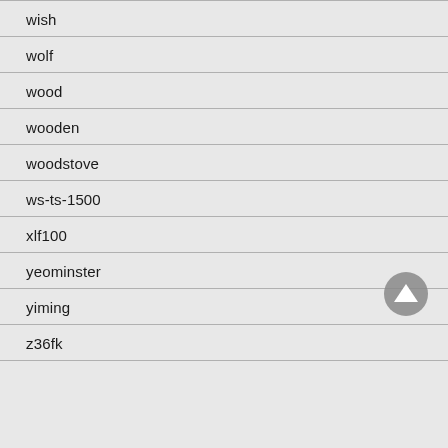wish
wolf
wood
wooden
woodstove
ws-ts-1500
xlf100
yeominster
yiming
z36fk